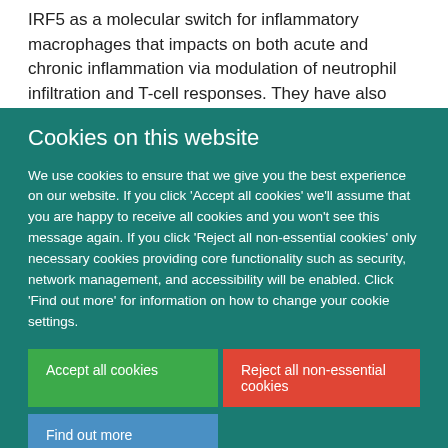IRF5 as a molecular switch for inflammatory macrophages that impacts on both acute and chronic inflammation via modulation of neutrophil infiltration and T-cell responses. They have also revealed that type III IFNs have anti-inflammatory
Cookies on this website
We use cookies to ensure that we give you the best experience on our website. If you click 'Accept all cookies' we'll assume that you are happy to receive all cookies and you won't see this message again. If you click 'Reject all non-essential cookies' only necessary cookies providing core functionality such as security, network management, and accessibility will be enabled. Click 'Find out more' for information on how to change your cookie settings.
Accept all cookies
Reject all non-essential cookies
Find out more